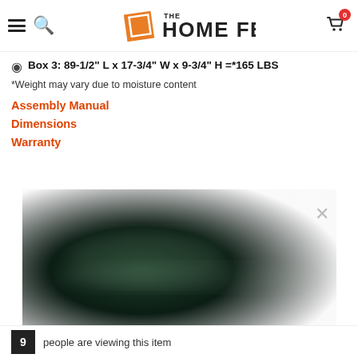The Home Feel — navigation header with hamburger menu, search icon, logo, and cart with badge 0
Box 3: 89-1/2" L x 17-3/4" W x 9-3/4" H =*165 LBS
*Weight may vary due to moisture content
Assembly Manual
Dimensions
Warranty
[Figure (photo): Dark blurry overlay image, predominantly dark green/black tones, with a light X close button in top-right corner]
9  people are viewing this item